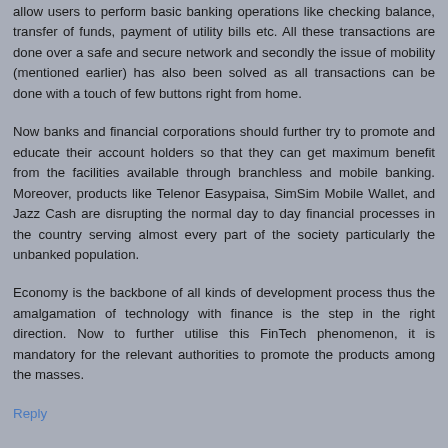allow users to perform basic banking operations like checking balance, transfer of funds, payment of utility bills etc. All these transactions are done over a safe and secure network and secondly the issue of mobility (mentioned earlier) has also been solved as all transactions can be done with a touch of few buttons right from home.
Now banks and financial corporations should further try to promote and educate their account holders so that they can get maximum benefit from the facilities available through branchless and mobile banking. Moreover, products like Telenor Easypaisa, SimSim Mobile Wallet, and Jazz Cash are disrupting the normal day to day financial processes in the country serving almost every part of the society particularly the unbanked population.
Economy is the backbone of all kinds of development process thus the amalgamation of technology with finance is the step in the right direction. Now to further utilise this FinTech phenomenon, it is mandatory for the relevant authorities to promote the products among the masses.
Reply